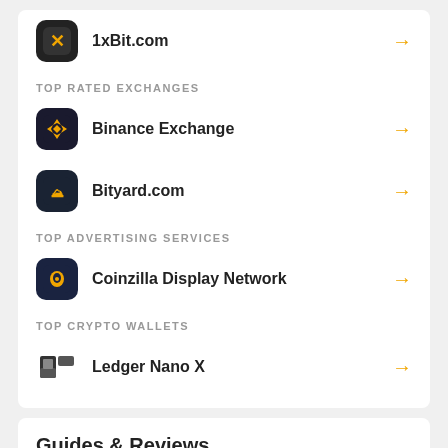1xBit.com
TOP RATED EXCHANGES
Binance Exchange
Bityard.com
TOP ADVERTISING SERVICES
Coinzilla Display Network
TOP CRYPTO WALLETS
Ledger Nano X
Guides & Reviews